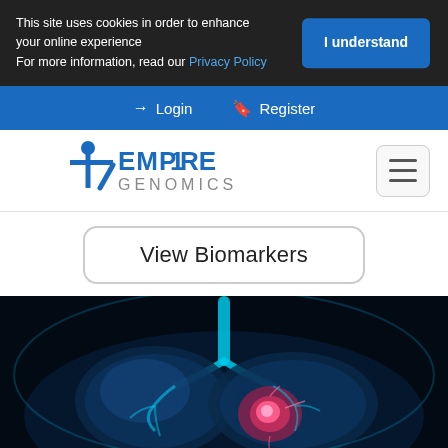This site uses cookies in order to enhance your online experience For more information, read our Privacy Policy
I understand
Login  Register
[Figure (logo): Empire Genomics logo with stylized person/T figure in blue]
View Biomarkers
[Figure (illustration): Medical illustration of human lungs with glowing blue and pink highlights on dark background, showing a tumor or lesion in one lung]